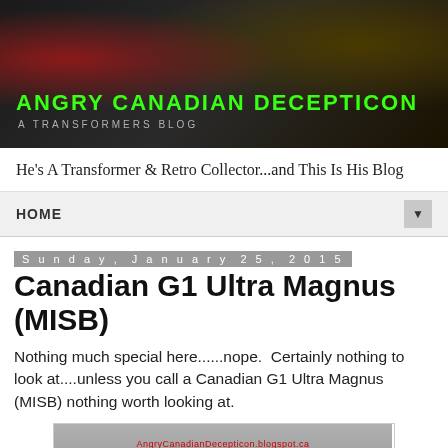[Figure (photo): Blog banner image with dark background showing Transformers robot imagery, green neon text 'ANGRY CANADIAN DECEPTICON' and subtitle 'A TRANSFORMERS BLOG']
He's A Transformer & Retro Collector...and This Is His Blog
HOME
Sunday, January 25, 2015
Canadian G1 Ultra Magnus (MISB)
Nothing much special here......nope.  Certainly nothing to look at....unless you call a Canadian G1 Ultra Magnus (MISB) nothing worth looking at.
[Figure (photo): Partial image of a Transformers toy box with AngryCanadianDecepticon.blogspot.ca watermark and TRANSFORMERS text visible]